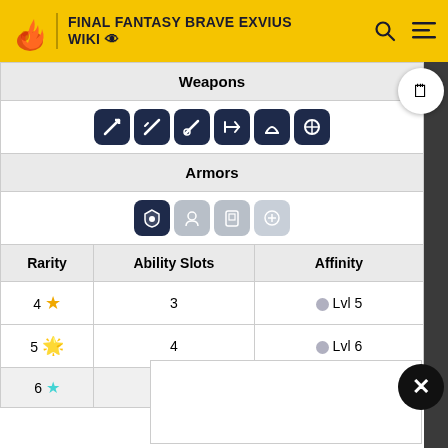FINAL FANTASY BRAVE EXVIUS WIKI
| Rarity | Ability Slots | Affinity |
| --- | --- | --- |
| Weapons |  |  |
| (weapon icons) |  |  |
| Armors |  |  |
| (armor icons) |  |  |
| 4 ★ | 3 | Lvl 5 |
| 5 ★ | 4 | Lvl 6 |
| 6 ★ | 4 | Lvl 7 |